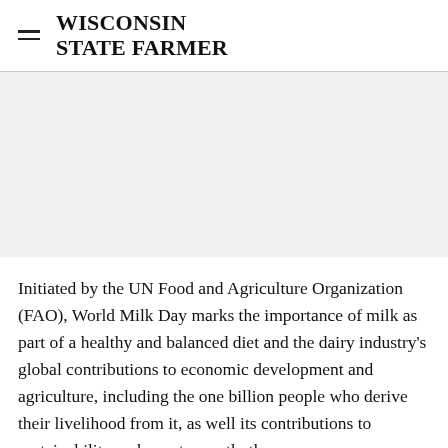WISCONSIN STATE FARMER
[Figure (other): Advertisement placeholder area with light gray background]
Initiated by the UN Food and Agriculture Organization (FAO), World Milk Day marks the importance of milk as part of a healthy and balanced diet and the dairy industry's global contributions to economic development and agriculture, including the one billion people who derive their livelihood from it, as well its contributions to sustainability and, most recently th